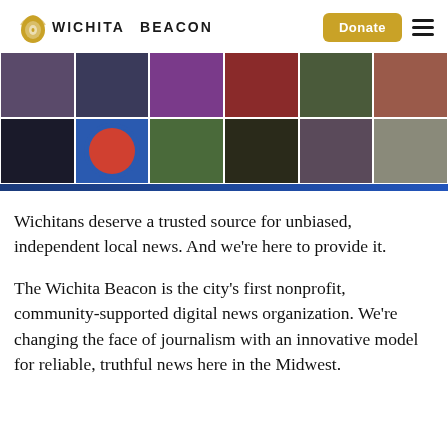WICHITA BEACON
[Figure (photo): A 2-row grid of 6 photos each showing various people and scenes from Wichita, Kansas community life]
Wichitans deserve a trusted source for unbiased, independent local news. And we're here to provide it.
The Wichita Beacon is the city's first nonprofit, community-supported digital news organization. We're changing the face of journalism with an innovative model for reliable, truthful news here in the Midwest.